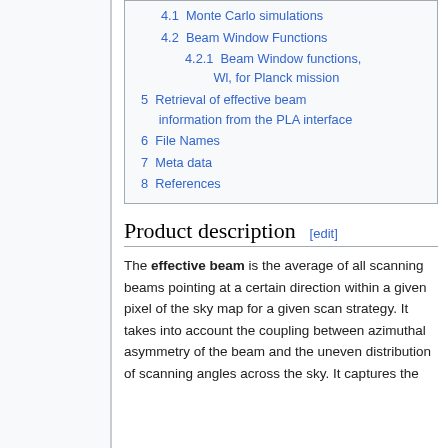4.1 Monte Carlo simulations
4.2 Beam Window Functions
4.2.1 Beam Window functions, Wl, for Planck mission
5 Retrieval of effective beam information from the PLA interface
6 File Names
7 Meta data
8 References
Product description [edit]
The effective beam is the average of all scanning beams pointing at a certain direction within a given pixel of the sky map for a given scan strategy. It takes into account the coupling between azimuthal asymmetry of the beam and the uneven distribution of scanning angles across the sky. It captures the